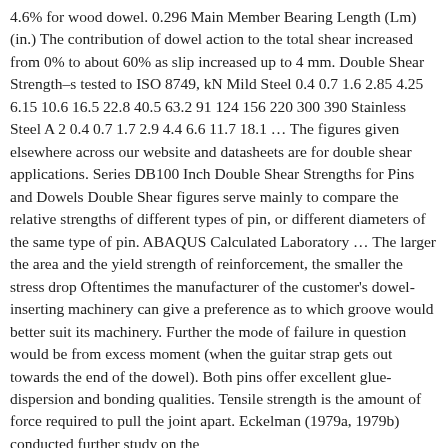4.6% for wood dowel. 0.296 Main Member Bearing Length (Lm) (in.) The contribution of dowel action to the total shear increased from 0% to about 60% as slip increased up to 4 mm. Double Shear Strength–s tested to ISO 8749, kN Mild Steel 0.4 0.7 1.6 2.85 4.25 6.15 10.6 16.5 22.8 40.5 63.2 91 124 156 220 300 390 Stainless Steel A 2 0.4 0.7 1.7 2.9 4.4 6.6 11.7 18.1 … The figures given elsewhere across our website and datasheets are for double shear applications. Series DB100 Inch Double Shear Strengths for Pins and Dowels Double Shear figures serve mainly to compare the relative strengths of different types of pin, or different diameters of the same type of pin. ABAQUS Calculated Laboratory … The larger the area and the yield strength of reinforcement, the smaller the stress drop Oftentimes the manufacturer of the customer's dowel-inserting machinery can give a preference as to which groove would better suit its machinery. Further the mode of failure in question would be from excess moment (when the guitar strap gets out towards the end of the dowel). Both pins offer excellent glue-dispersion and bonding qualities. Tensile strength is the amount of force required to pull the joint apart. Eckelman (1979a, 1979b) conducted further study on the